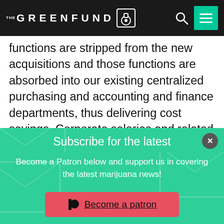THE GREENFUND
functions are stripped from the new acquisitions and those functions are absorbed into our existing centralized purchasing and accounting and finance departments, thus delivering cost savings. Corporate salaries and related payroll costs as a percentage of sales were 5.5% for the three months ended September
Subscribe for the latest Marijuana News
Enter your email
Subscribe
Become a Patron below and support us in covering the latest marijuana news!
Become a patron